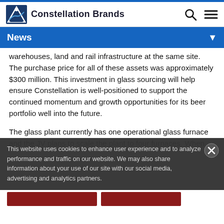Constellation Brands
News
warehouses, land and rail infrastructure at the same site. The purchase price for all of these assets was approximately $300 million. This investment in glass sourcing will help ensure Constellation is well-positioned to support the continued momentum and growth opportunities for its beer portfolio well into the future.
The glass plant currently has one operational glass furnace and the JV plans to scale the plant to four furnaces. When
This website uses cookies to enhance user experience and to analyze performance and traffic on our website. We may also share information about your use of our site with our social media, advertising and analytics partners.